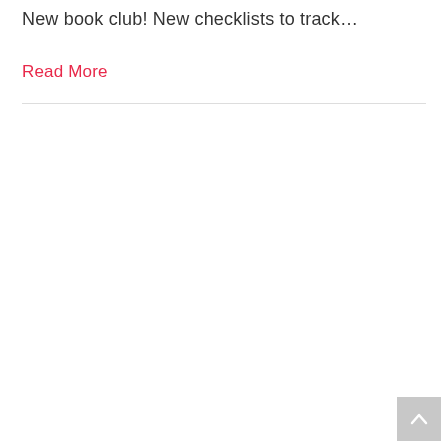New book club! New checklists to track…
Read More
Back to top button